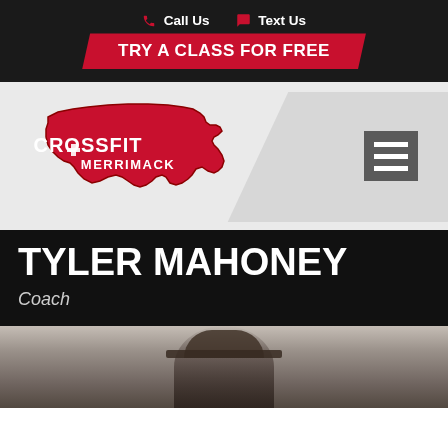Call Us  Text Us  TRY A CLASS FOR FREE
[Figure (logo): CrossFit Merrimack logo with Massachusetts state shape in red]
TYLER MAHONEY
Coach
[Figure (photo): Photo of Tyler Mahoney, coach at CrossFit Merrimack]